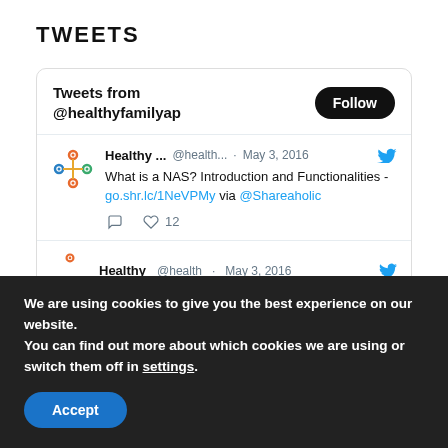TWEETS
Tweets from @healthyfamilyap
Healthy ... @health... · May 3, 2016
What is a NAS? Introduction and Functionalities - go.shr.lc/1NeVPMy via @Shareaholic
12 likes
Healthy @health May 3, 2016
We are using cookies to give you the best experience on our website.
You can find out more about which cookies we are using or switch them off in settings.
Accept